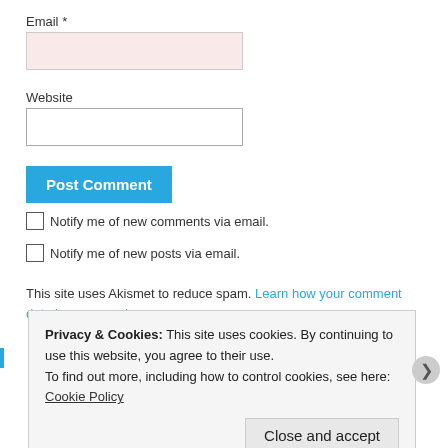Email *
[Figure (screenshot): Email input field with pinkish-red background]
Website
[Figure (screenshot): Website input field with white background]
[Figure (screenshot): Post Comment button in blue]
Notify me of new comments via email.
Notify me of new posts via email.
This site uses Akismet to reduce spam. Learn how your comment data is processed.
Privacy & Cookies: This site uses cookies. By continuing to use this website, you agree to their use.
To find out more, including how to control cookies, see here: Cookie Policy
Close and accept